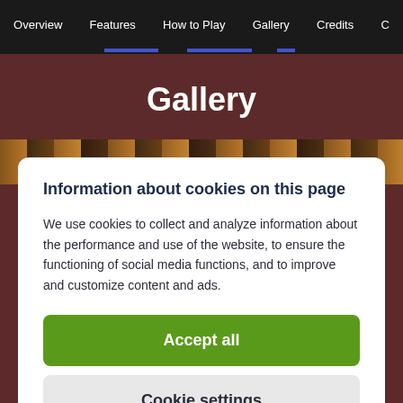Overview | Features | How to Play | Gallery | Credits | C...
Gallery
Information about cookies on this page
We use cookies to collect and analyze information about the performance and use of the website, to ensure the functioning of social media functions, and to improve and customize content and ads.
Accept all
Cookie settings